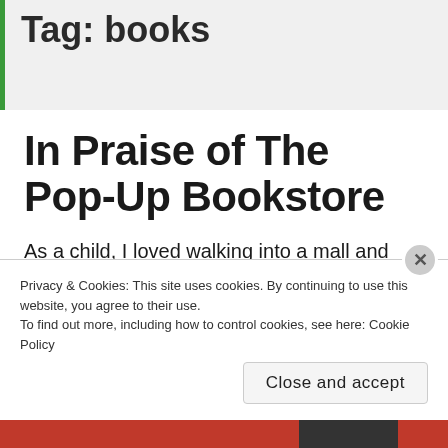Tag: books
In Praise of The Pop-Up Bookstore
As a child, I loved walking into a mall and finding
Privacy & Cookies: This site uses cookies. By continuing to use this website, you agree to their use.
To find out more, including how to control cookies, see here: Cookie Policy
Close and accept